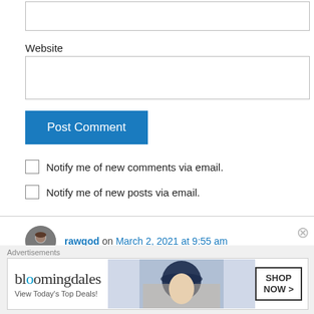[Figure (screenshot): Empty text input box at the top of the page (partial, cropped)]
Website
[Figure (screenshot): Website text input field (empty)]
[Figure (screenshot): Post Comment button (blue)]
Notify me of new comments via email.
Notify me of new posts via email.
rawgod on March 2, 2021 at 9:55 am
[Figure (screenshot): Bloomingdales advertisement: 'View Today's Top Deals! SHOP NOW >']